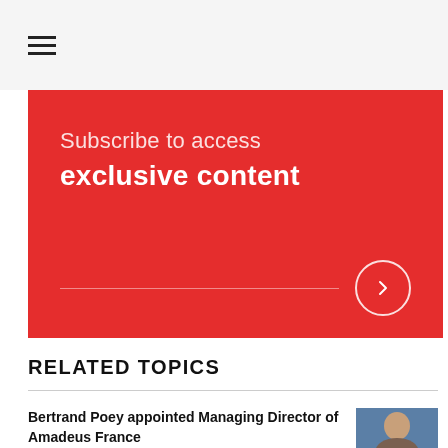[Figure (infographic): Red subscription banner with text 'Subscribe to access exclusive content' and a right-arrow circle button]
RELATED TOPICS
Bertrand Poey appointed Managing Director of Amadeus France